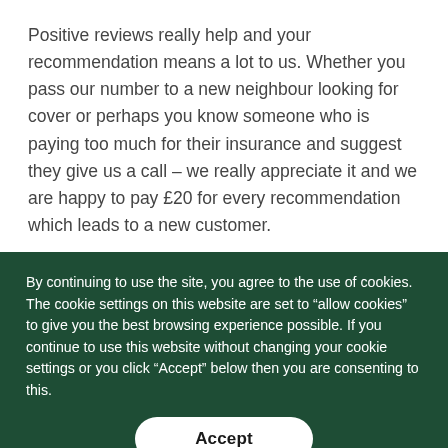Positive reviews really help and your recommendation means a lot to us. Whether you pass our number to a new neighbour looking for cover or perhaps you know someone who is paying too much for their insurance and suggest they give us a call – we really appreciate it and we are happy to pay £20 for every recommendation which leads to a new customer.
“How did you hear about us?” is a question that we ask whenever we provide a quote. If a new customer
By continuing to use the site, you agree to the use of cookies. The cookie settings on this website are set to “allow cookies” to give you the best browsing experience possible. If you continue to use this website without changing your cookie settings or you click “Accept” below then you are consenting to this.
Accept